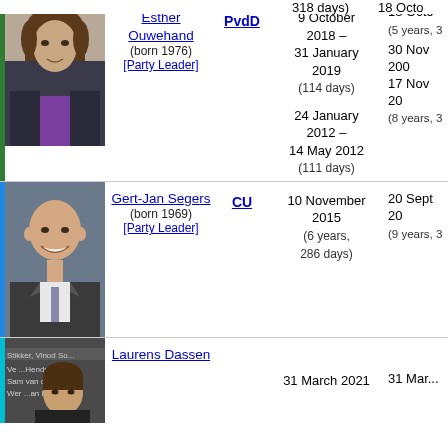318 days)
18 Octo... (5 years, 3...
[Figure (photo): Photo of Esther Ouwehand]
Esther Ouwehand (born 1976) [Party Leader]
PvdD
9 October 2018 – 31 January 2019 (114 days)
30 Nov 200... 17 Nov... 20... (8 years, 3...)
24 January 2012 – 14 May 2012 (111 days)
[Figure (photo): Photo of Gert-Jan Segers]
Gert-Jan Segers (born 1969) [Party Leader]
CU
10 November 2015 (6 years, 286 days)
20 Sept 20... (9 years, 3...)
[Figure (photo): Photo of Laurens Dassen]
Laurens Dassen
31 March 2021
31 Mar...